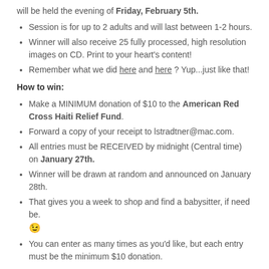will be held the evening of Friday, February 5th.
Session is for up to 2 adults and will last between 1-2 hours.
Winner will also receive 25 fully processed, high resolution images on CD. Print to your heart's content!
Remember what we did here and here ? Yup...just like that!
How to win:
Make a MINIMUM donation of $10 to the American Red Cross Haiti Relief Fund.
Forward a copy of your receipt to lstradtner@mac.com.
All entries must be RECEIVED by midnight (Central time) on January 27th.
Winner will be drawn at random and announced on January 28th.
That gives you a week to shop and find a babysitter, if need be. 😉
You can enter as many times as you'd like, but each entry must be the minimum $10 donation.
Other details: